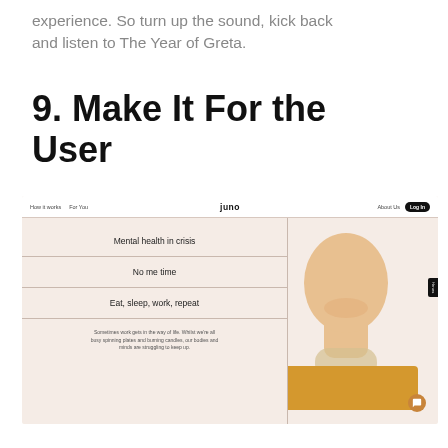experience. So turn up the sound, kick back and listen to The Year of Greta.
9. Make It For the User
[Figure (screenshot): Screenshot of the Juno website showing a navigation bar with 'How it works', 'For You', the Juno logo, 'About Us', and a 'Log In' button. The main content shows a left panel with three menu items: 'Mental health in crisis', 'No me time', 'Eat, sleep, work, repeat', and a description text below. The right panel shows a photo of a smiling person in a yellow/mustard top with the bold text 'We can do better.' overlaid, and a small side tab and chat button.]